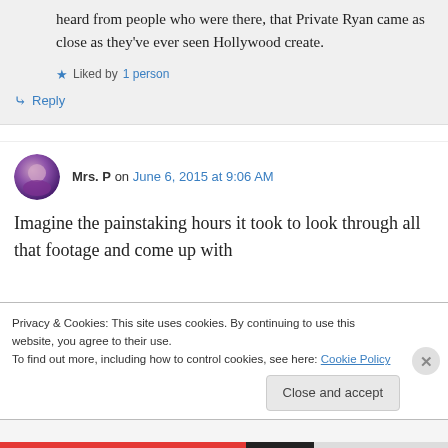heard from people who were there, that Private Ryan came as close as they've ever seen Hollywood create.
Liked by 1 person
Reply
Mrs. P on June 6, 2015 at 9:06 AM
Imagine the painstaking hours it took to look through all that footage and come up with
Privacy & Cookies: This site uses cookies. By continuing to use this website, you agree to their use. To find out more, including how to control cookies, see here: Cookie Policy
Close and accept